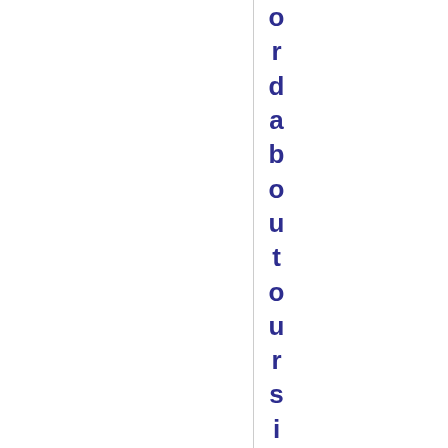ordaboutoursite and to locate more